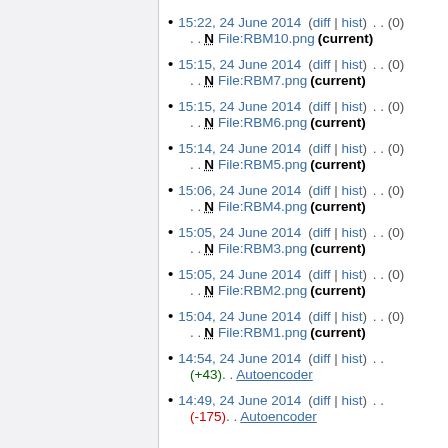15:22, 24 June 2014 (diff | hist) . . (0) . . N File:RBM10.png (current)
15:15, 24 June 2014 (diff | hist) . . (0) . . N File:RBM7.png (current)
15:15, 24 June 2014 (diff | hist) . . (0) . . N File:RBM6.png (current)
15:14, 24 June 2014 (diff | hist) . . (0) . . N File:RBM5.png (current)
15:06, 24 June 2014 (diff | hist) . . (0) . . N File:RBM4.png (current)
15:05, 24 June 2014 (diff | hist) . . (0) . . N File:RBM3.png (current)
15:05, 24 June 2014 (diff | hist) . . (0) . . N File:RBM2.png (current)
15:04, 24 June 2014 (diff | hist) . . (0) . . N File:RBM1.png (current)
14:54, 24 June 2014 (diff | hist) . . (+43) . . Autoencoder
14:49, 24 June 2014 (diff | hist) . . (-175) . . Autoencoder